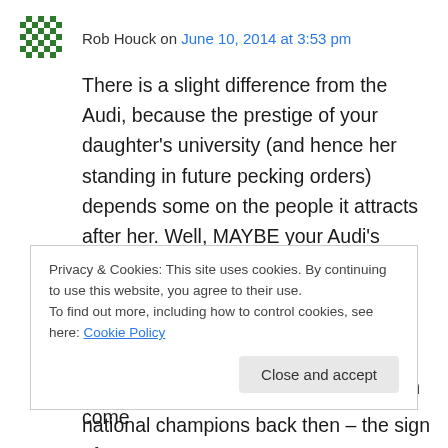Rob Houck on June 10, 2014 at 3:53 pm
There is a slight difference from the Audi, because the prestige of your daughter’s university (and hence her standing in future pecking orders) depends some on the people it attracts after her. Well, MAYBE your Audi’s resale value does, too. But essentially colleges sop up every cent available to them. So making student loans available only makes them hungry for more. Furthermore, where did the myth come
Privacy & Cookies: This site uses cookies. By continuing to use this website, you agree to their use.
To find out more, including how to control cookies, see here: Cookie Policy
national champions back then – the sign of a